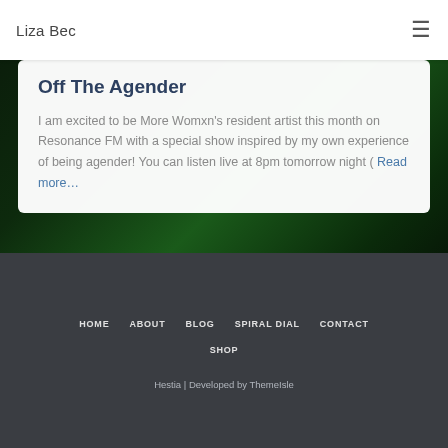Liza Bec
Off The Agender
I am excited to be More Womxn's resident artist this month on Resonance FM with a special show inspired by my own experience of being agender! You can listen live at 8pm tomorrow night ( Read more…
HOME   ABOUT   BLOG   SPIRAL DIAL   CONTACT   SHOP   Hestia | Developed by ThemeIsle